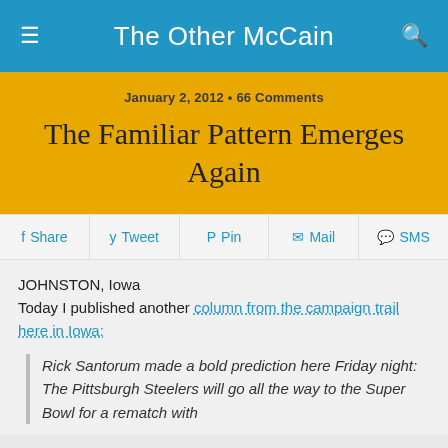The Other McCain
January 2, 2012 • 66 Comments
The Familiar Pattern Emerges Again
Share  Tweet  Pin  Mail  SMS
JOHNSTON, Iowa
Today I published another column from the campaign trail here in Iowa:
Rick Santorum made a bold prediction here Friday night: The Pittsburgh Steelers will go all the way to the Super Bowl for a rematch with